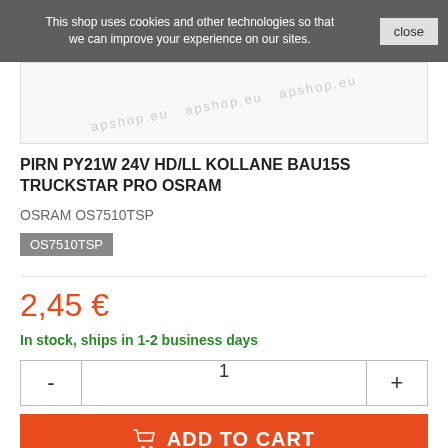This shop uses cookies and other technologies so that we can improve your experience on our sites.
[Figure (other): Product image area with watermark text 'apshop.eu' repeated]
PIRN PY21W 24V HD/LL KOLLANE BAU15S TRUCKSTAR PRO OSRAM
OSRAM OS7510TSP
OS7510TSP
2,45 €
In stock, ships in 1-2 business days
1
ADD TO CART